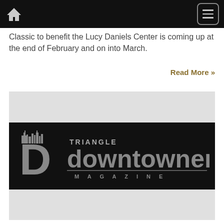Navigation bar with home icon and menu button
Classic to benefit the Lucy Daniels Center is coming up at the end of February and on into March.
Read More »
[Figure (logo): Triangle Downtowner Magazine logo — white/grey text on black background with large stylized D letter and city skyline silhouette]